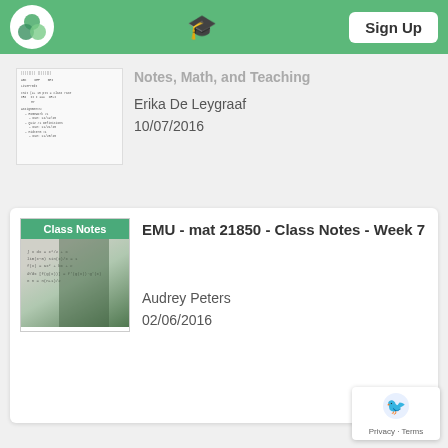Sign Up
[Figure (screenshot): Thumbnail of a class notes document with tabular data and assignment list]
Notes, Math, and Teaching
Erika De Leygraaf
10/07/2016
[Figure (screenshot): Class Notes thumbnail with handwritten notes on paper, green tint overlay]
EMU - mat 21850 - Class Notes - Week 7
Audrey Peters
02/06/2016
Privacy · Terms